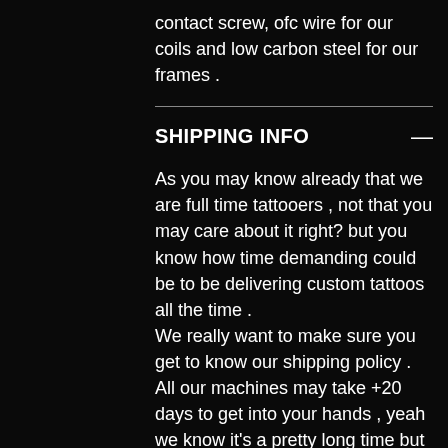contact screw, ofc wire for our coils and low carbon steel for our frames .
SHIPPING INFO
As you may know already that we are full time tattooers , not that you may care about it right? but you know how time demanding could be to be delivering custom tattoos all the time .
We really want to make sure you get to know our shipping policy .
All our machines may take +20 days to get into your hands , yeah we know it's a pretty long time but it doesn't happen every